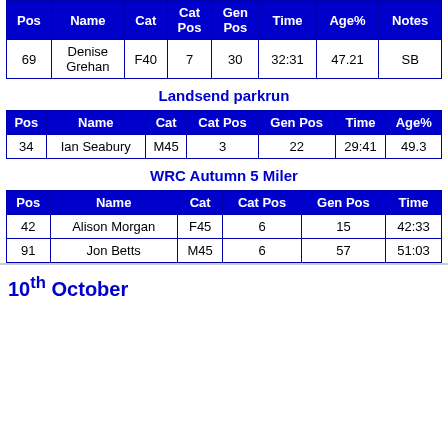| Pos | Name | Cat | Cat Pos | Gen Pos | Time | Age% | Notes |
| --- | --- | --- | --- | --- | --- | --- | --- |
| 69 | Denise Grehan | F40 | 7 | 30 | 32:31 | 47.21 | SB |
Landsend parkrun
| Pos | Name | Cat | Cat Pos | Gen Pos | Time | Age% |
| --- | --- | --- | --- | --- | --- | --- |
| 34 | Ian Seabury | M45 | 3 | 22 | 29:41 | 49.3 |
WRC Autumn 5 Miler
| Pos | Name | Cat | Cat Pos | Gen Pos | Time |
| --- | --- | --- | --- | --- | --- |
| 42 | Alison Morgan | F45 | 6 | 15 | 42:33 |
| 91 | Jon Betts | M45 | 6 | 57 | 51:03 |
10th October